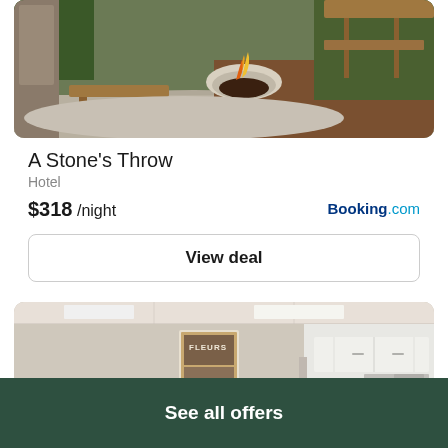[Figure (photo): Outdoor patio area with a stone fire pit burning, wooden benches and railings, surrounded by trees. Concrete/paved surface.]
A Stone's Throw
Hotel
$318 /night
Booking.com
View deal
[Figure (photo): Interior room photo showing white walls, drop ceiling with recessed lighting, a decorative 'Fleurs' poster/sign, white kitchen cabinets and appliances in the background.]
See all offers